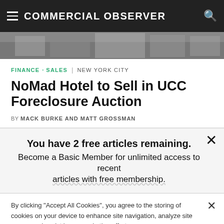COMMERCIAL OBSERVER
[Figure (photo): Exterior photo of NoMad Hotel building, partially visible, dark tones]
FINANCE · SALES | NEW YORK CITY
NoMad Hotel to Sell in UCC Foreclosure Auction
BY MACK BURKE AND MATT GROSSMAN
You have 2 free articles remaining. Become a Basic Member for unlimited access to recent articles with free membership.
By clicking "Accept All Cookies", you agree to the storing of cookies on your device to enhance site navigation, analyze site usage, and assist in our marketing efforts.